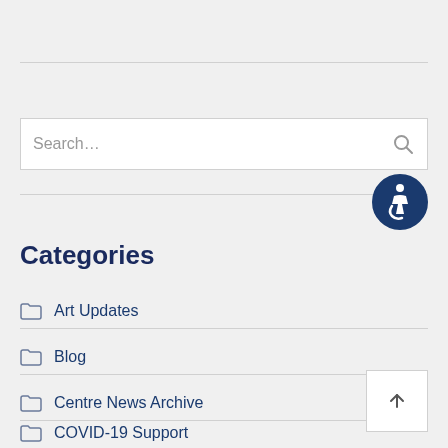[Figure (other): Search input box with placeholder text 'Search...' and a search icon on the right]
[Figure (other): Accessibility icon - dark blue circle with wheelchair user symbol in white]
Categories
Art Updates
Blog
Centre News Archive
COVID-19 Support